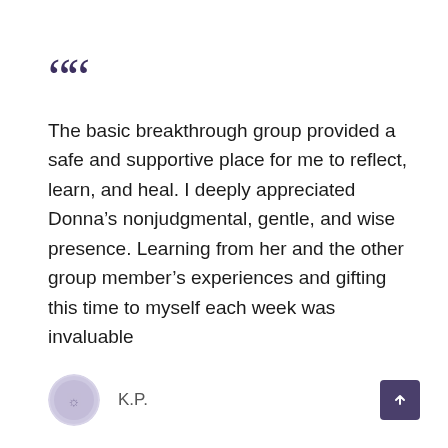““ The basic breakthrough group provided a safe and supportive place for me to reflect, learn, and heal. I deeply appreciated Donna’s nonjudgmental, gentle, and wise presence. Learning from her and the other group member’s experiences and gifting this time to myself each week was invaluable
K.P.